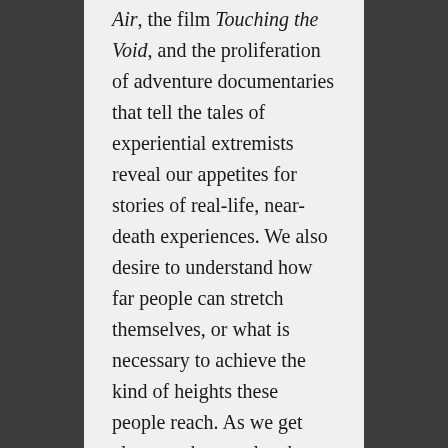Air, the film Touching the Void, and the proliferation of adventure documentaries that tell the tales of experiential extremists reveal our appetites for stories of real-life, near-death experiences. We also desire to understand how far people can stretch themselves, or what is necessary to achieve the kind of heights these people reach. As we get closer to the people who pursue their personal bests, we learn more about the things that drive us, too.
What I like about Steep compared with other films